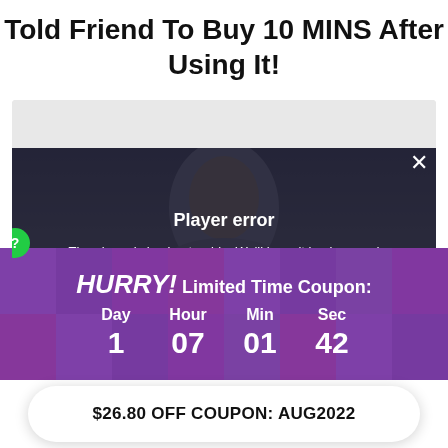Told Friend To Buy 10 MINS After Using It!
[Figure (screenshot): Video player showing a person's face with a 'Player error' overlay message: 'The player is having trouble. We'll have it back up and running as soon as possible.' A close (X) button is in the top right. A green help (?) button is on the left side.]
HURRY! Limited Time Coupon:
Day 1  Hour 07  Min 01  Sec 42
$26.80 OFF COUPON: AUG2022